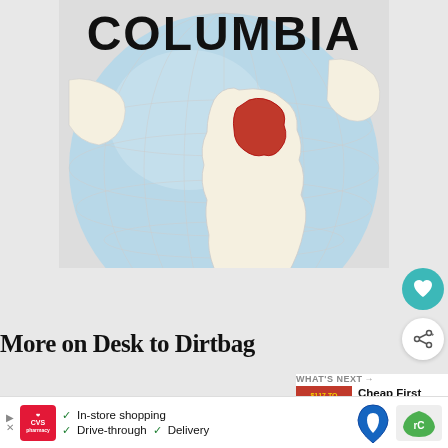[Figure (map): Globe map showing South America with Colombia highlighted in red. The word COLUMBIA appears in large black letters at the top of the image.]
More on Desk to Dirtbag
[Figure (infographic): What's Next promotional box showing 'Cheap First Class Ticket...' with a red thumbnail image showing price $117 to $12/month #firstcla]
[Figure (photo): Blue banner with yellow text reading TRAVEL FOREVER]
[Figure (infographic): CVS Pharmacy advertisement banner with checkmarks listing: In-store shopping, Drive-through, Delivery. Google Maps icon and reCAPTCHA logo visible.]